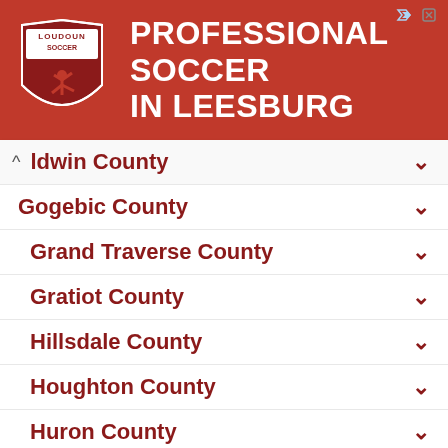[Figure (illustration): Red advertisement banner for Loudoun Soccer featuring logo and text 'Professional Soccer in Leesburg']
ldwin County
Gogebic County
Grand Traverse County
Gratiot County
Hillsdale County
Houghton County
Huron County
Ingham County
Ionia County
Iosco County
Iron County